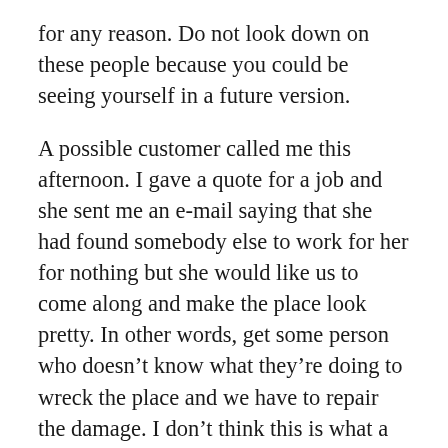for any reason. Do not look down on these people because you could be seeing yourself in a future version.
A possible customer called me this afternoon. I gave a quote for a job and she sent me an e-mail saying that she had found somebody else to work for her for nothing but she would like us to come along and make the place look pretty. In other words, get some person who doesn't know what they're doing to wreck the place and we have to repair the damage. I don't think this is what a professional relationship is all about. anyway the call came after the letter. I did not answer the phone because I didn't want to hear nonsense on the Sunday afternoon.